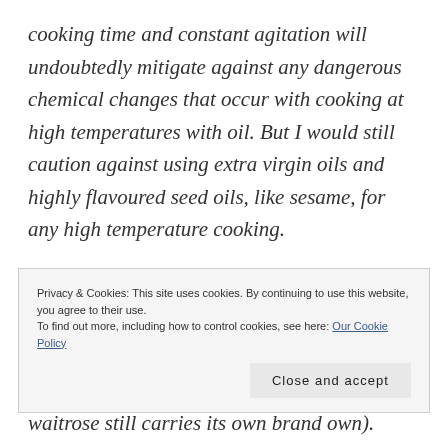cooking time and constant agitation will undoubtedly mitigate against any dangerous chemical changes that occur with cooking at high temperatures with oil. But I would still caution against using extra virgin oils and highly flavoured seed oils, like sesame, for any high temperature cooking.

If you can't find nori sheets you could use what are called 'seaweed snacks' or even
Privacy & Cookies: This site uses cookies. By continuing to use this website, you agree to their use.
To find out more, including how to control cookies, see here: Our Cookie Policy
waitrose still carries its own brand own).